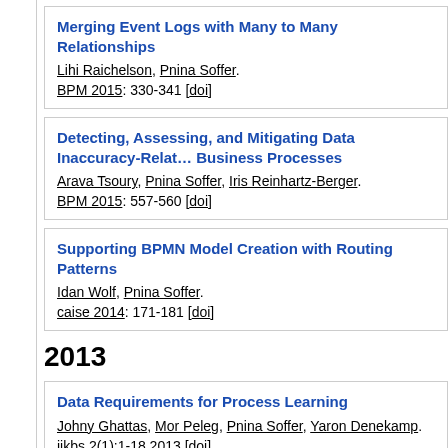Merging Event Logs with Many to Many Relationships
Lihi Raichelson, Pnina Soffer.
BPM 2015: 330-341 [doi]
Detecting, Assessing, and Mitigating Data Inaccuracy-Related... Business Processes
Arava Tsoury, Pnina Soffer, Iris Reinhartz-Berger.
BPM 2015: 557-560 [doi]
Supporting BPMN Model Creation with Routing Patterns
Idan Wolf, Pnina Soffer.
caise 2014: 171-181 [doi]
2013
Data Requirements for Process Learning
Johny Ghattas, Mor Peleg, Pnina Soffer, Yaron Denekamp.
jikbs 2(1):1-18 2013 [doi]